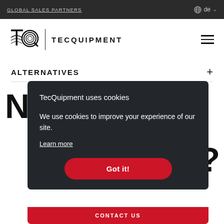GLOBAL SALES PARTNERS
[Figure (logo): TecQuipment logo with TQ mark and wordmark TECQUIPMENT]
ALTERNATIVES
NE ?
[Figure (screenshot): Cookie consent overlay dialog: 'TecQuipment uses cookies' with body text 'We use cookies to improve your experience of our site.' and a Learn more link and Got it! button]
CONTACT US